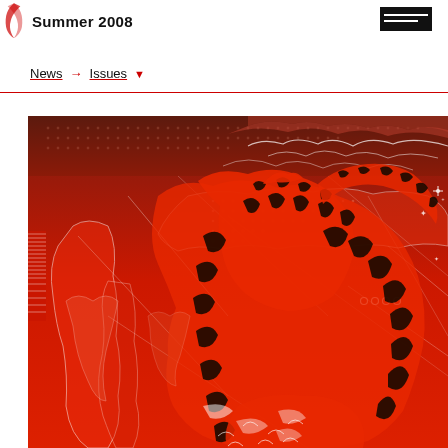Summer 2008
News → Issues
[Figure (illustration): Red-toned illustration of a tiger overlaid on a world map with geometric grid lines, white outline map shapes, and decorative dot patterns. The tiger has bold black stripes and is shown in a crouching or prowling pose. The background is deep red with lighter red map silhouettes and white line-art cartographic details.]